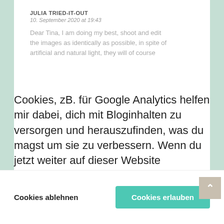JULIA TRIED-IT-OUT
10. September 2020 at 19:43
Dear Tina, I am doing my best, shoot and edit the images as identically as possible, in spite of artificial and natural light, they will of course
Cookies, zB. für Google Analytics helfen mir dabei, dich mit Bloginhalten zu versorgen und herauszufinden, was du magst um sie zu verbessern. Wenn du jetzt weiter auf dieser Website unterwegs bist, gehe ich davon aus, dass das für dich okay ist. Welche Cookies gibt es überhaupt? Mehr dazu in meiner Datenschutz-Erklärung
Cookies ablehnen
Cookies erlauben